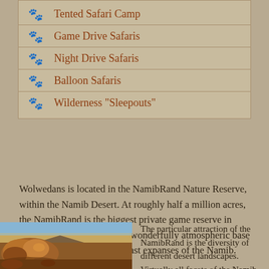Tented Safari Camp
Game Drive Safaris
Night Drive Safaris
Balloon Safaris
Wilderness "Sleepouts"
Wolwedans is located in the NamibRand Nature Reserve, within the Namib Desert. At roughly half a million acres, the NamibRand is the biggest private game reserve in Africa, and Wolwedans is a wonderfully atmospheric base from which to explore the vast expanses of the Namib.
[Figure (photo): Desert landscape with red rock formations in warm sunset light, flat plains and distant mountains in the background under a clear sky.]
The particular attraction of the NamibRand is the diversity of different desert landscapes. Virtually all facets of the Namib are represented here, from